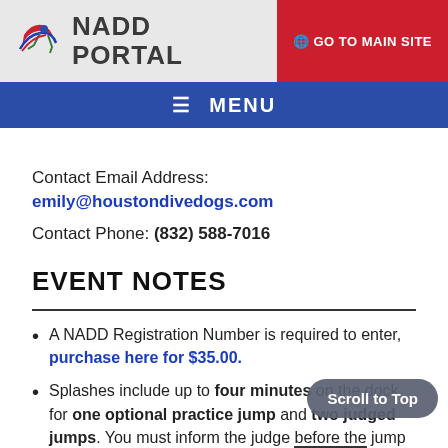NADD PORTAL | GO TO MAIN SITE
≡ MENU
Contact Email Address: emily@houstondivedogs.com
Contact Phone: (832) 588-7016
EVENT NOTES
A NADD Registration Number is required to enter, purchase here for $35.00.
Splashes include up to four minutes on the dock for one optional practice jump and two judged jumps. You must inform the judge before the jump if you want it to be considered a "practice jump".